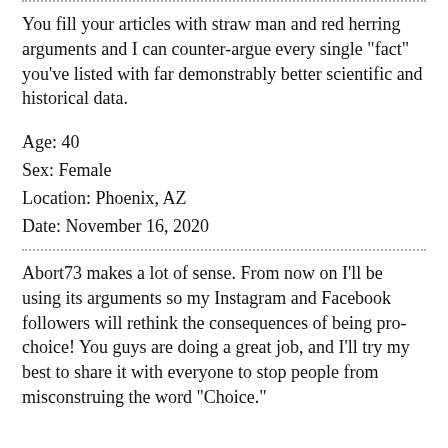You fill your articles with straw man and red herring arguments and I can counter-argue every single "fact" you've listed with far demonstrably better scientific and historical data.
Age: 40
Sex: Female
Location: Phoenix, AZ
Date: November 16, 2020
Abort73 makes a lot of sense. From now on I'll be using its arguments so my Instagram and Facebook followers will rethink the consequences of being pro-choice! You guys are doing a great job, and I'll try my best to share it with everyone to stop people from misconstruing the word "Choice."